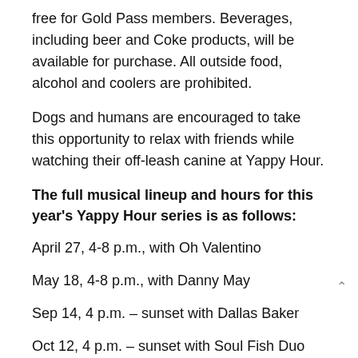free for Gold Pass members. Beverages, including beer and Coke products, will be available for purchase. All outside food, alcohol and coolers are prohibited.
Dogs and humans are encouraged to take this opportunity to relax with friends while watching their off-leash canine at Yappy Hour.
The full musical lineup and hours for this year's Yappy Hour series is as follows:
April 27, 4-8 p.m., with Oh Valentino
May 18, 4-8 p.m., with Danny May
Sep 14, 4 p.m. – sunset with Dallas Baker
Oct 12, 4 p.m. – sunset with Soul Fish Duo
For more information call 843-795-4386 or visit